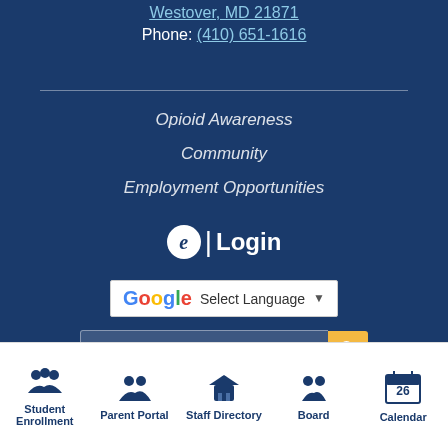Westover, MD 21871
Phone: (410) 651-1616
Opioid Awareness
Community
Employment Opportunities
e | Login
Select Language
Search this site
Powered by edlio
Student Enrollment
Parent Portal
Staff Directory
Board
Calendar